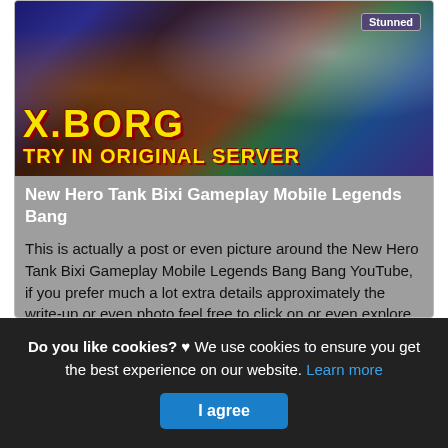[Figure (screenshot): Mobile Legends game banner showing X.BORG character with text 'X.BORG TRY IN ORIGINAL SERVER' and a Stunned badge in the top right]
New Hero Tank Bixi Gameplay Mobile Legends Bang
This is actually a post or even picture around the New Hero Tank Bixi Gameplay Mobile Legends Bang Bang YouTube, if you prefer much a lot extra details approximately the write-up or even photo feel free to click on or even explore the complying with web link or even web link .
(Read More)
Source: www.youtube.com Visit Web
Do you like cookies? ♥ We use cookies to ensure you get the best experience on our website. Learn more
I agree